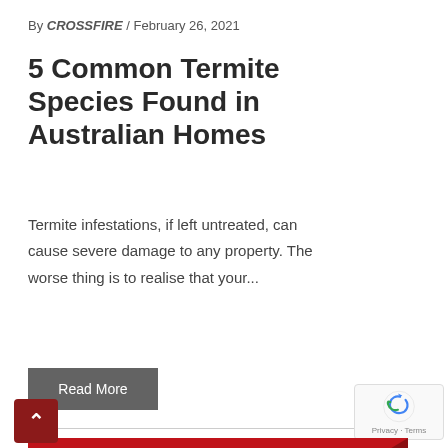By CROSSFIRE / February 26, 2021
5 Common Termite Species Found in Australian Homes
Termite infestations, if left untreated, can cause severe damage to any property. The worse thing is to realise that your...
Read More
[Figure (illustration): Red and dark red banner image with bold white text reading TERMITE PREVENTION]